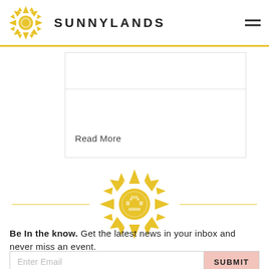SUNNYLANDS
Read More
[Figure (logo): Sunnylands Aztec sun logo (gold) centered between two gold horizontal lines]
Be In the know. Get the latest news in your inbox and never miss an event.